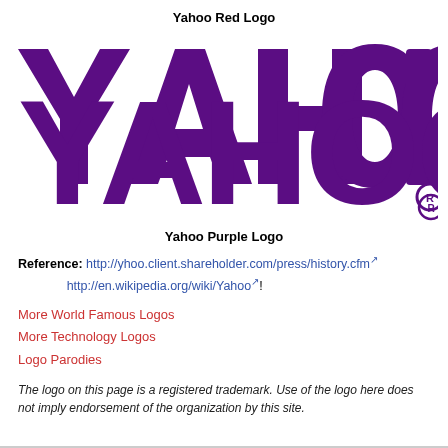Yahoo Red Logo
[Figure (logo): Yahoo! logo in purple/violet color on white background, large bold stylized text reading YAHOO! with registered trademark symbol]
Yahoo Purple Logo
Reference: http://yhoo.client.shareholder.com/press/history.cfm http://en.wikipedia.org/wiki/Yahoo!
More World Famous Logos
More Technology Logos
Logo Parodies
The logo on this page is a registered trademark. Use of the logo here does not imply endorsement of the organization by this site.